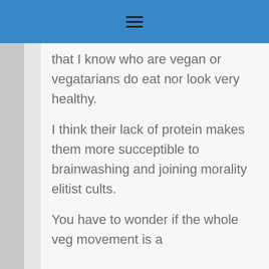☰
that I know who are vegan or vegatarians do eat nor look very healthy.
I think their lack of protein makes them more succeptible to brainwashing and joining morality elitist cults.
You have to wonder if the whole veg movement is a